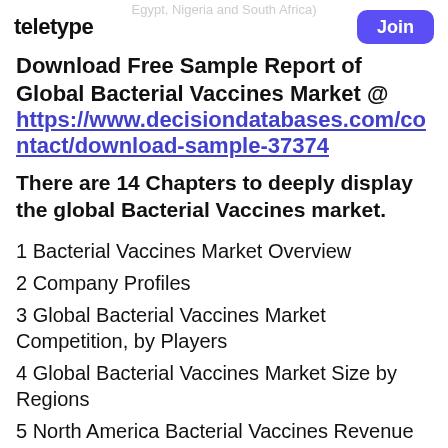Egypt, Nigeria and South Africa)
TELETYPE
Join
Download Free Sample Report of Global Bacterial Vaccines Market @ https://www.decisiondatabases.com/contact/download-sample-37374
There are 14 Chapters to deeply display the global Bacterial Vaccines market.
1 Bacterial Vaccines Market Overview
2 Company Profiles
3 Global Bacterial Vaccines Market Competition, by Players
4 Global Bacterial Vaccines Market Size by Regions
5 North America Bacterial Vaccines Revenue by Countries